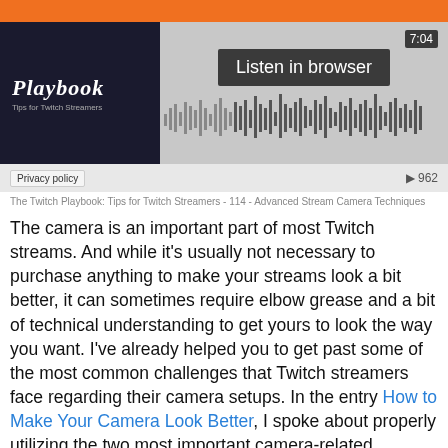[Figure (screenshot): Podcast player widget with orange top bar, dark thumbnail showing 'Playbook Tips for Twitch Streamers' logo, 'Listen in browser' button, waveform, time '7:04', play count '962', and privacy policy button at bottom.]
The Twitch Playbook: Tips for Twitch Streamers - 114 - Advanced Stream Camera Techniques
The camera is an important part of most Twitch streams. And while it's usually not necessary to purchase anything to make your streams look a bit better, it can sometimes require elbow grease and a bit of technical understanding to get yours to look the way you want. I've already helped you to get past some of the most common challenges that Twitch streamers face regarding their camera setups. In the entry How to Make Your Camera Look Better, I spoke about properly utilizing the two most important camera-related concepts: composition and lighting. And in the more recent entry Focusing a Streaming Webcam I covered the underlying concepts that govern how your camera sees the space around it. In this entry, we will dive deeper into the world of cameras and filters with some more advanced stream camera techniques.